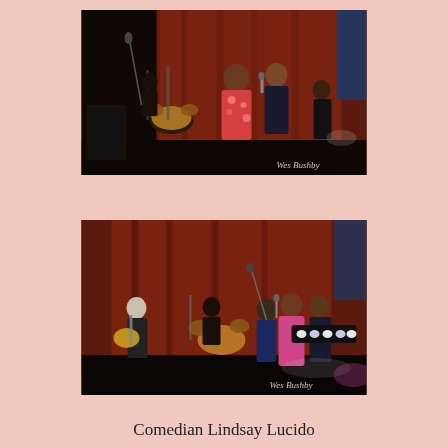[Figure (photo): Concert photo showing musicians on stage with red curtain backdrop. A woman in a floral red and white dress stands center stage with a man in a dark blazer. Drummer visible on left side. Watermark reads 'Wes Bushby'.]
[Figure (photo): Concert photo showing musicians on stage with red curtain backdrop. Guitarist on left, drummer in center, and woman in pink/red dress with man in dark blazer on right. Stage lights visible. Watermark reads 'Wes Bushby'.]
Comedian Lindsay Lucido